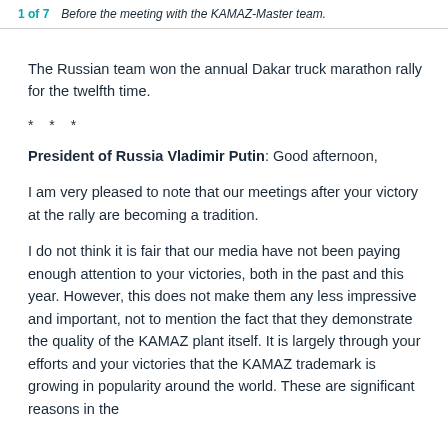1 of 7   Before the meeting with the KAMAZ-Master team.
The Russian team won the annual Dakar truck marathon rally for the twelfth time.
* * *
President of Russia Vladimir Putin: Good afternoon,
I am very pleased to note that our meetings after your victory at the rally are becoming a tradition.
I do not think it is fair that our media have not been paying enough attention to your victories, both in the past and this year. However, this does not make them any less impressive and important, not to mention the fact that they demonstrate the quality of the KAMAZ plant itself. It is largely through your efforts and your victories that the KAMAZ trademark is growing in popularity around the world. These are significant reasons in the